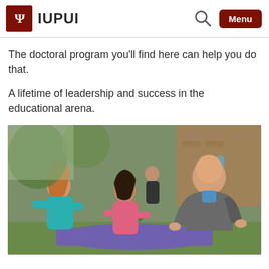IUPUI
The doctoral program you'll find here can help you do that.
A lifetime of leadership and success in the educational arena.
[Figure (photo): A man crouching down to work on a planting activity outdoors with two young girls at a table, with other children visible in the background near a brick building.]